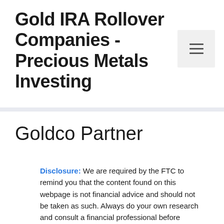Gold IRA Rollover Companies - Precious Metals Investing
[Figure (other): Hamburger menu button icon with three horizontal lines on a light gray background]
Goldco Partner
Disclosure: We are required by the FTC to remind you that the content found on this webpage is not financial advice and should not be taken as such. Always do your own research and consult a financial professional before making any investment decisions. The owners of this website may